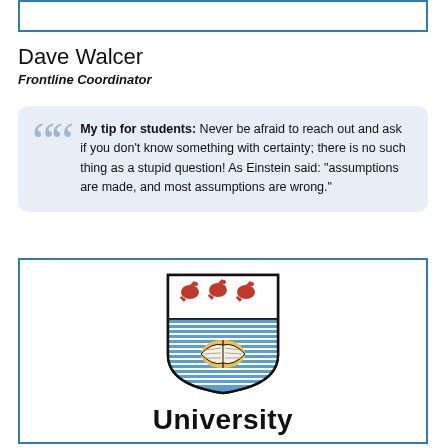[Figure (other): Empty bordered box at the top of the page]
Dave Walcer
Frontline Coordinator
My tip for students: Never be afraid to reach out and ask if you don't know something with certainty; there is no such thing as a stupid question! As Einstein said: "assumptions are made, and most assumptions are wrong."
[Figure (logo): University of St Andrews crest logo with three red birds on top and an open book below, with horizontal blue stripes, inside a shield shape. Below the crest is the text 'University']